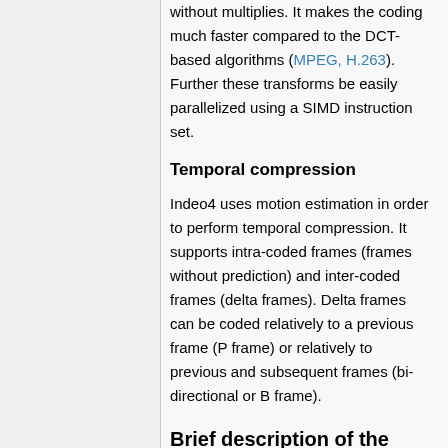without multiplies. It makes the coding much faster compared to the DCT-based algorithms (MPEG, H.263). Further these transforms be easily parallelized using a SIMD instruction set.
Temporal compression
Indeo4 uses motion estimation in order to perform temporal compression. It supports intra-coded frames (frames without prediction) and inter-coded frames (delta frames). Delta frames can be coded relatively to a previous frame (P frame) or relatively to previous and subsequent frames (bi-directional or B frame).
Brief description of the interactive features
Transparency